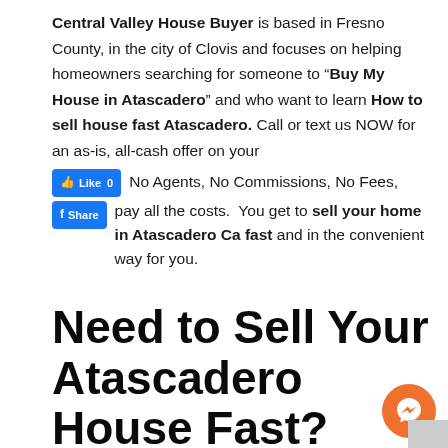Central Valley House Buyer is based in Fresno County, in the city of Clovis and focuses on helping homeowners searching for someone to "Buy My House in Atascadero" and who want to learn How to sell house fast Atascadero. Call or text us NOW for an as-is, all-cash offer on your [Like 0] No Agents, No Commissions, No Fees, [Share] pay all the costs.  You get to sell your home in Atascadero Ca fast and in the convenient way for you.
Need to Sell Your Atascadero House Fast?